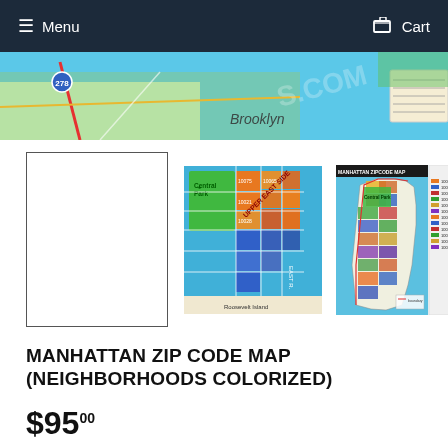Menu | Cart
[Figure (map): Top partial view of a New York City map showing Brooklyn area with colored zip code regions]
[Figure (map): Blank white thumbnail with border (front cover placeholder)]
[Figure (map): Colorized neighborhood map of Upper East Side Manhattan with Central Park]
[Figure (map): Manhattan Zip Code Map showing full island with colored zip code regions and legend]
MANHATTAN ZIP CODE MAP (NEIGHBORHOODS COLORIZED)
$95.00
ADD TO CART